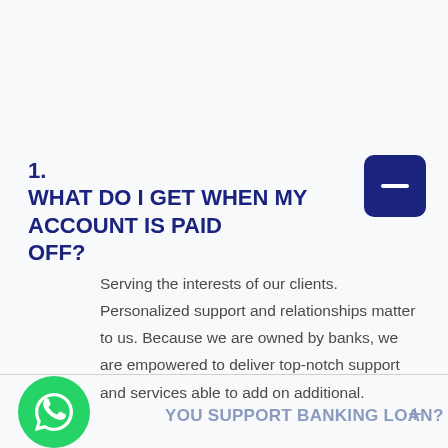1. WHAT DO I GET WHEN MY ACCOUNT IS PAID OFF?
Serving the interests of our clients. Personalized support and relationships matter to us. Because we are owned by banks, we are empowered to deliver top-notch support and services able to add on additional.
YOU SUPPORT BANKING LOAN?